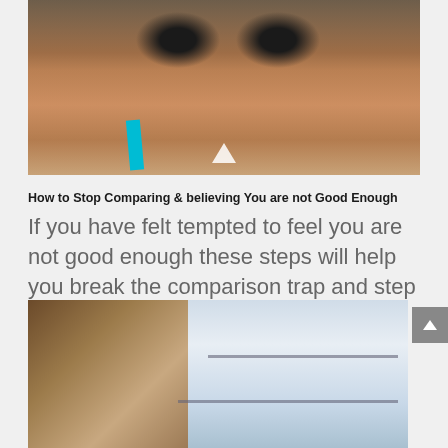[Figure (photo): Two women with dark hair photographed close together, faces near each other, one wearing a turquoise strap. Cropped view showing upper body and hair.]
How to Stop Comparing & believing You are not Good Enough
If you have felt tempted to feel you are not good enough these steps will help you break the comparison trap and step into the best you
[Figure (photo): Woman with braided hair looking down, possibly at a laptop or phone, sitting near a glass window or railing with a blurred city background.]